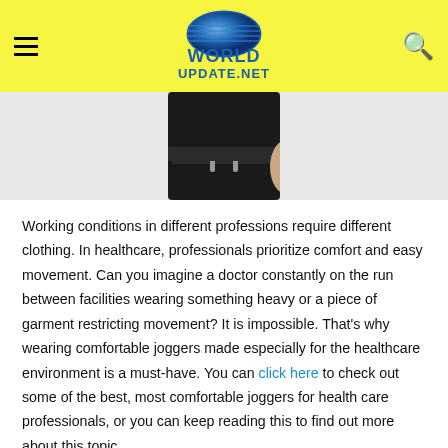WorldUpdate.net navigation header
[Figure (photo): Person wearing black jogger pants with a drawstring waist, cropped view showing torso and legs]
Working conditions in different professions require different clothing. In healthcare, professionals prioritize comfort and easy movement. Can you imagine a doctor constantly on the run between facilities wearing something heavy or a piece of garment restricting movement? It is impossible. That's why wearing comfortable joggers made especially for the healthcare environment is a must-have. You can click here to check out some of the best, most comfortable joggers for health care professionals, or you can keep reading this to find out more about this topic.